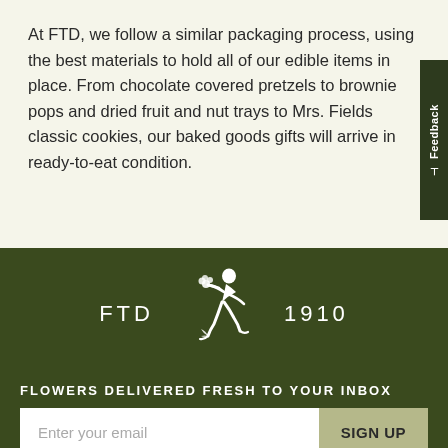At FTD, we follow a similar packaging process, using the best materials to hold all of our edible items in place. From chocolate covered pretzels to brownie pops and dried fruit and nut trays to Mrs. Fields classic cookies, our baked goods gifts will arrive in ready-to-eat condition.
[Figure (logo): FTD Mercury Man logo with running figure holding flowers, flanked by text 'FTD' on the left and '1910' on the right, displayed in white on dark olive green background]
FLOWERS DELIVERED FRESH TO YOUR INBOX